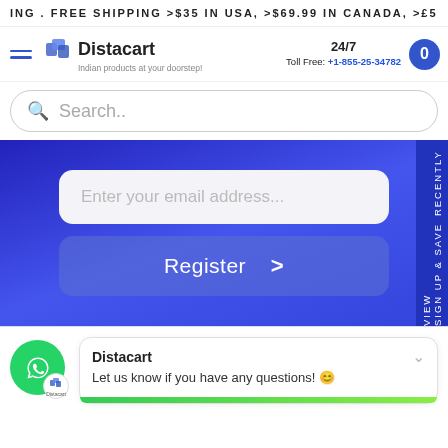ING . FREE SHIPPING >$35 IN USA, >$69.99 IN CANADA, >£5
[Figure (logo): Distacart logo with shopping cart icon and tagline 'Indian products at your doorstep!']
24/7 Toll Free: +1-855-25-34782
Search..
Enter your email address...
Register >
Sign up & save RECENTLY VIEW
Distacart
Let us know if you have any questions! 😊